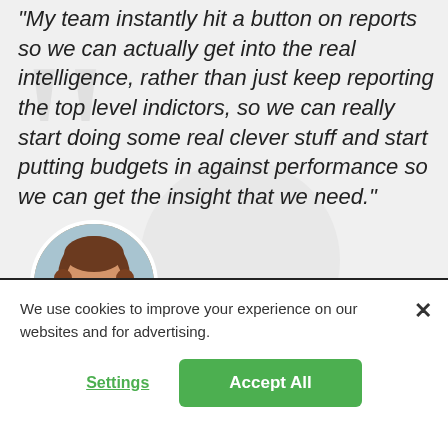"My team instantly hit a button on reports so we can actually get into the real intelligence, rather than just keep reporting the top level indictors, so we can really start doing some real clever stuff and start putting budgets in against performance so we can get the insight that we need."
[Figure (photo): Circular profile photo of a woman with shoulder-length brown hair, smiling, with an outdoor background]
We use cookies to improve your experience on our websites and for advertising.
Settings
Accept All